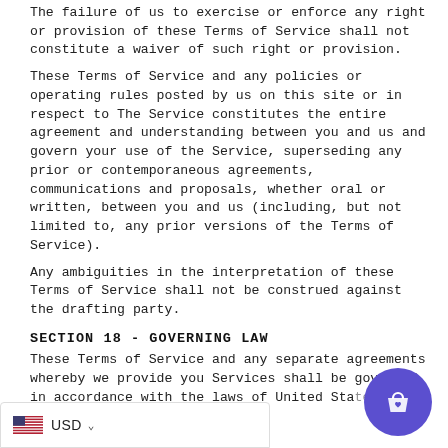The failure of us to exercise or enforce any right or provision of these Terms of Service shall not constitute a waiver of such right or provision.
These Terms of Service and any policies or operating rules posted by us on this site or in respect to The Service constitutes the entire agreement and understanding between you and us and govern your use of the Service, superseding any prior or contemporaneous agreements, communications and proposals, whether oral or written, between you and us (including, but not limited to, any prior versions of the Terms of Service).
Any ambiguities in the interpretation of these Terms of Service shall not be construed against the drafting party.
SECTION 18 - GOVERNING LAW
These Terms of Service and any separate agreements whereby we provide you Services shall be governed in accordance with the laws of United States.